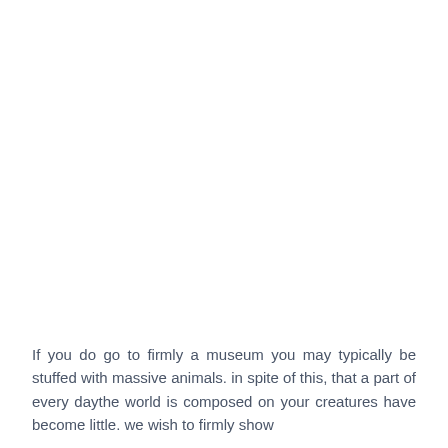If you do go to firmly a museum you may typically be stuffed with massive animals. in spite of this, that a part of every daythe world is composed on your creatures have become little. we wish to firmly show